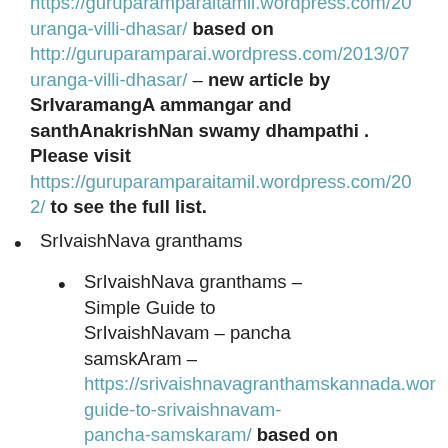dhasar – life and glories in thamizh – https://guruparamparaitamil.wordpress.com/20... uranga-villi-dhasar/ based on http://guruparamparai.wordpress.com/2013/07... uranga-villi-dhasar/ – new article by SrIvaramangA ammangar and santhAnakrishNan swamy dhampathi. Please visit https://guruparamparaitamil.wordpress.com/20...2/ to see the full list.
SrIvaishNava granthams
SrIvaishNava granthams – Simple Guide to SrIvaishNavam – pancha samskAram – https://srivaishnavagranthamskannada.wor...guide-to-srivaishnavam-pancha-samskaram/ based on